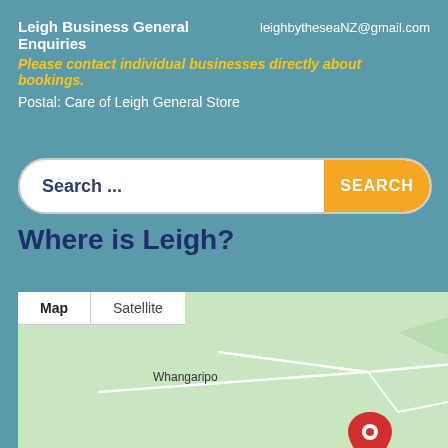Leigh Business General Enquiries    leighbytheseaNZ@gmail.com
Please contact individual businesses directly about bookings.
Postal: Care of Leigh General Store
[Figure (screenshot): Search bar with 'Search ...' placeholder text and orange SEARCH button]
Where is Leigh?
[Figure (map): Google Maps showing Leigh, New Zealand area with map/satellite toggle, location pins at Leigh, Point Well, and Omaha area, and place labels Whangaripo, Point Well, Omaha, Leigh]